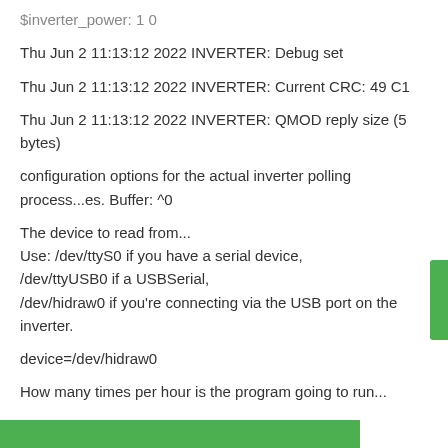Thu Jun 2 11:13:12 2022 INVERTER: Debug set
Thu Jun 2 11:13:12 2022 INVERTER: Current CRC: 49 C1
Thu Jun 2 11:13:12 2022 INVERTER: QMOD reply size (5 bytes)
configuration options for the actual inverter polling process...es. Buffer: ^0
The device to read from...
Use: /dev/ttyS0 if you have a serial device,
/dev/ttyUSB0 if a USBSerial,
/dev/hidraw0 if you're connecting via the USB port on the inverter.
device=/dev/hidraw0
How many times per hour is the program going to run...